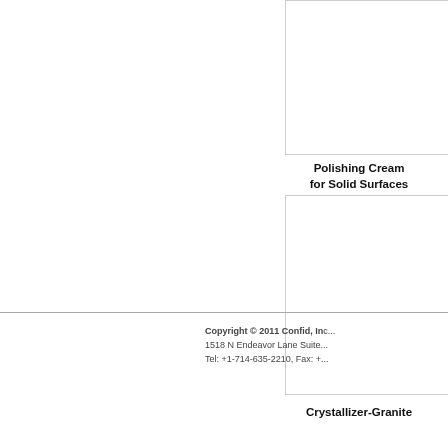[Figure (photo): Product image placeholder for Polishing Cream for Solid Surfaces — white rectangle with grey border]
Polishing Cream
for Solid Surfaces
[Figure (photo): Product image placeholder for Crystallizer-Granite — white rectangle with grey border]
Crystallizer-Granite
Copyright © 2011 Confid, In...
1518 N Endeavor Lane Suite...
Tel: +1-714-635-2210, Fax: +...